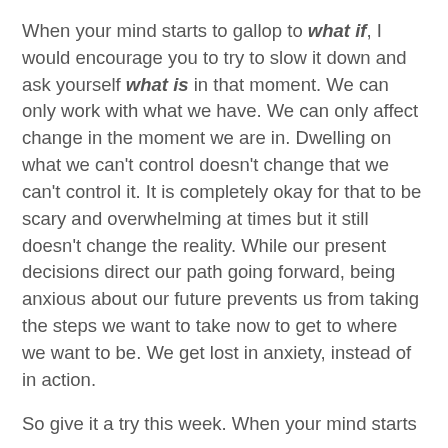When your mind starts to gallop to what if, I would encourage you to try to slow it down and ask yourself what is in that moment. We can only work with what we have. We can only affect change in the moment we are in. Dwelling on what we can't control doesn't change that we can't control it. It is completely okay for that to be scary and overwhelming at times but it still doesn't change the reality. While our present decisions direct our path going forward, being anxious about our future prevents us from taking the steps we want to take now to get to where we want to be. We get lost in anxiety, instead of in action.
So give it a try this week. When your mind starts...